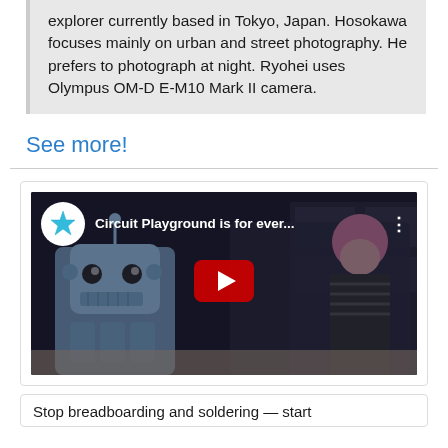explorer currently based in Tokyo, Japan. Hosokawa focuses mainly on urban and street photography. He prefers to photograph at night. Ryohei uses Olympus OM-D E-M10 Mark II camera.
See more!
[Figure (screenshot): YouTube video thumbnail showing Circuit Playground video titled 'Circuit Playground is for ever...' with a blue star channel icon, a robot toy and a woman with pink hair in a workshop setting, with a red YouTube play button overlay.]
Stop breadboarding and soldering - start